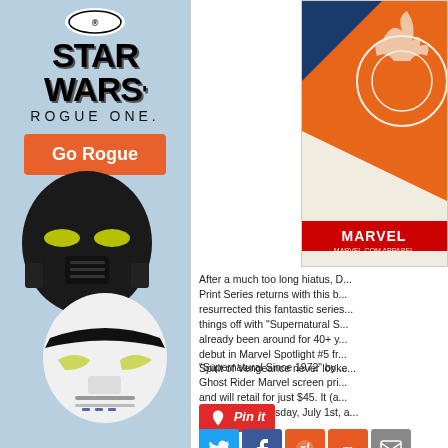[Figure (illustration): Star Wars Rogue One advertisement featuring Death Trooper and Stormtrooper helmets on a blue background with 'Go Rogue' orange button]
[Figure (illustration): Marvel screen print artwork featuring Ghost Rider in orange with geometric design]
After a much too long hiatus, D... Print Series returns with this b... resurrected this fantastic series... things off with "Supernatural S... already been around for 40+ y... debut in Marvel Spotlight #5 fr... Spirit of Vengeance never looke...
"Supernatural Since 1972" by ... Ghost Rider Marvel screen pri... and will retail for just $45. It (a... EDT this Wednesday, July 1st, a...
[Figure (illustration): Pin it button in red]
[Figure (illustration): Social sharing icons: Twitter, Facebook, Reddit, Mix, Email]